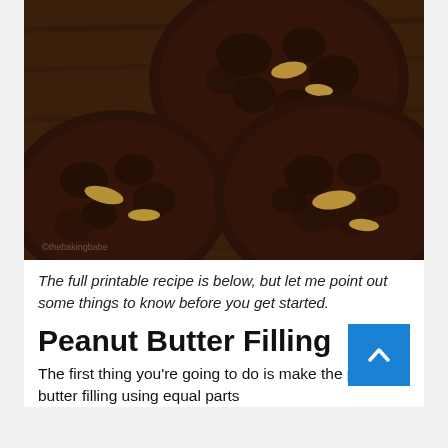[Figure (photo): Close-up photograph of dark chocolate cookies filled with peanut butter, arranged on a wooden surface. The cookies are crinkled, dark brown, and show creamy filling peeking through cracks.]
The full printable recipe is below, but let me point out some things to know before you get started.
Peanut Butter Filling
The first thing you're going to do is make the peanut butter filling using equal parts